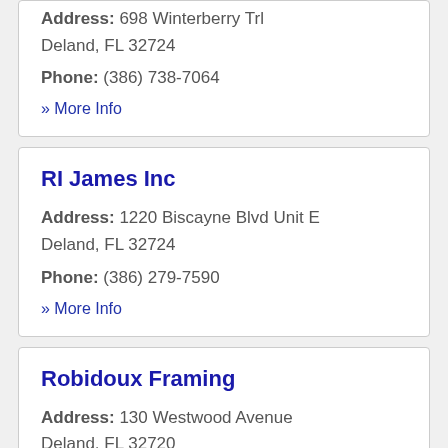Address: 698 Winterberry Trl Deland, FL 32724
Phone: (386) 738-7064
» More Info
RI James Inc
Address: 1220 Biscayne Blvd Unit E Deland, FL 32724
Phone: (386) 279-7590
» More Info
Robidoux Framing
Address: 130 Westwood Avenue Deland, FL 32720